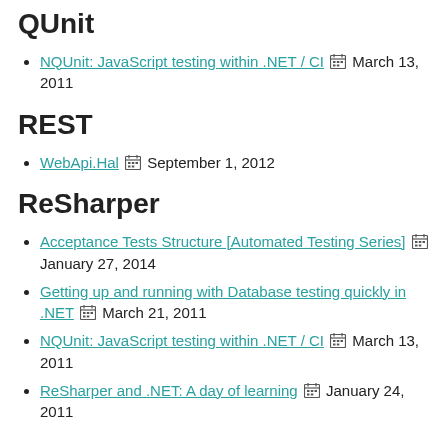2014
QUnit
NQUnit: JavaScript testing within .NET / CI  March 13, 2011
REST
WebApi.Hal  September 1, 2012
ReSharper
Acceptance Tests Structure [Automated Testing Series]  January 27, 2014
Getting up and running with Database testing quickly in .NET  March 21, 2011
NQUnit: JavaScript testing within .NET / CI  March 13, 2011
ReSharper and .NET: A day of learning  January 24, 2011